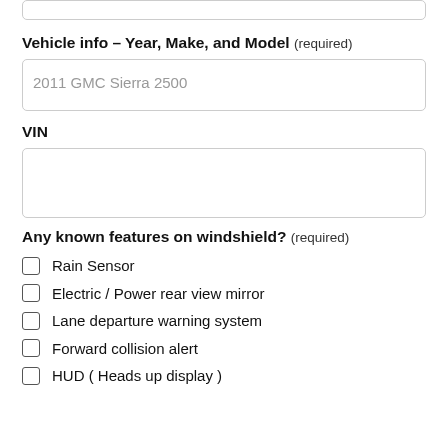Vehicle info – Year, Make, and Model (required)
2011 GMC Sierra 2500
VIN
Any known features on windshield? (required)
Rain Sensor
Electric / Power rear view mirror
Lane departure warning system
Forward collision alert
HUD ( Heads up display )